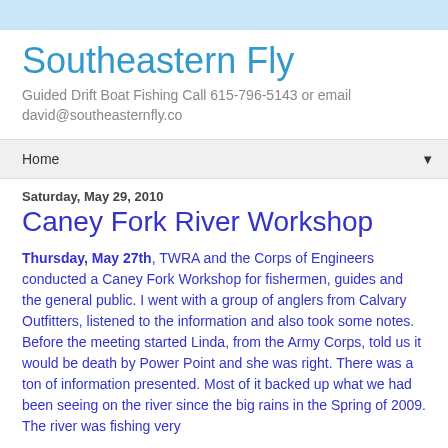Southeastern Fly
Guided Drift Boat Fishing Call 615-796-5143 or email david@southeasternfly.co
Home
Saturday, May 29, 2010
Caney Fork River Workshop
Thursday, May 27th, TWRA and the Corps of Engineers conducted a Caney Fork Workshop for fishermen, guides and the general public. I went with a group of anglers from Calvary Outfitters, listened to the information and also took some notes. Before the meeting started Linda, from the Army Corps, told us it would be death by Power Point and she was right. There was a ton of information presented. Most of it backed up what we had been seeing on the river since the big rains in the Spring of 2009. The river was fishing very